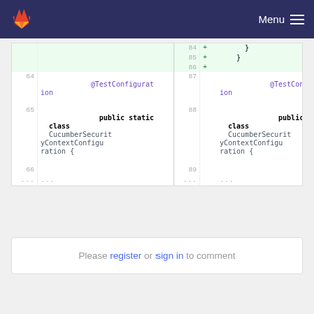Menu
[Figure (screenshot): GitLab diff view showing code lines 84-89 on right (added, green background) and lines 64-66 on left, with @TestConfiguration public static class CucumberSecurityContextConfiguration { code]
Please register or sign in to comment